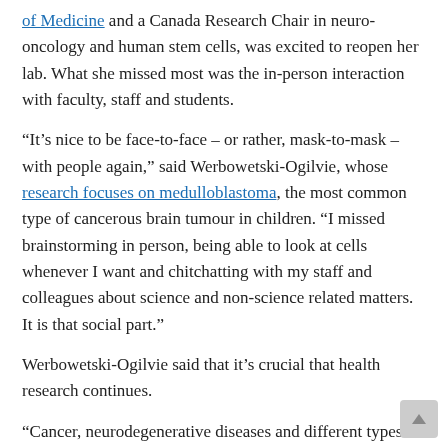of Medicine and a Canada Research Chair in neuro-oncology and human stem cells, was excited to reopen her lab. What she missed most was the in-person interaction with faculty, staff and students.
“It’s nice to be face-to-face – or rather, mask-to-mask – with people again,” said Werbowetski-Ogilvie, whose research focuses on medulloblastoma, the most common type of cancerous brain tumour in children. “I missed brainstorming in person, being able to look at cells whenever I want and chitchatting with my staff and colleagues about science and non-science related matters. It is that social part.”
Werbowetski-Ogilvie said that it’s crucial that health research continues.
“Cancer, neurodegenerative diseases and different types of ailments aren’t going away, whether COVID sticks around or not,” she said. “It’s critical that we continue the momentum to the best of our ability in all of these disease-